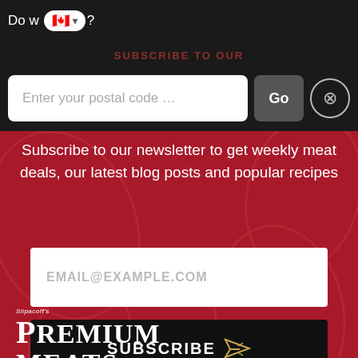Do w[e deliver]?
[Figure (screenshot): Canadian flag emoji with dropdown arrow inside a white rounded pill button]
SUBSCRIBE TO OUR
Enter your postal code ...
Go
Subscribe to our newsletter to get weekly meat deals, our latest blog posts and popular recipes
EMAIL@EXAMPLE.COM
SUBSCRIBE
[Figure (logo): Slipacoff's Premium Meats logo in white on dark background]